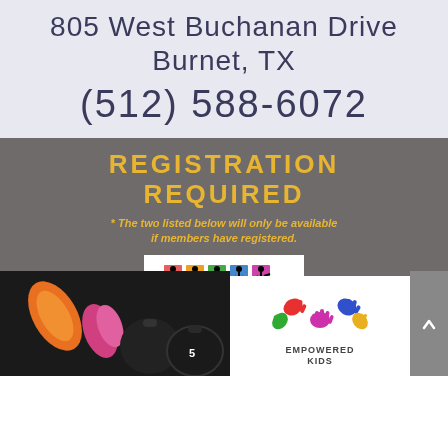805 West Buchanan Drive
Burnet, TX
(512) 588-6072
REGISTRATION REQUIRED
* The two listed below will only be available if members have registered.
[Figure (logo): Empowered Women's Fitness Center logo with colorful silhouette figures]
[Figure (photo): Dumbbells and kettlebells weights photo]
[Figure (logo): Empowered Kids logo with colorful handprints]